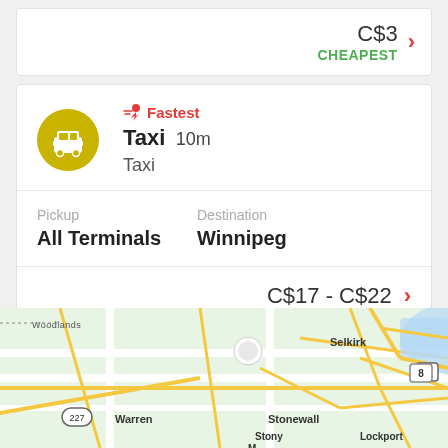C$3 CHEAPEST
Fastest Taxi 10m Taxi
Pickup: All Terminals | Destination: Winnipeg
C$17 - C$22
[Figure (map): Map showing area around Winnipeg, Manitoba including Warren, Stonewall, Selkirk, Stony Mountain, Lockport, and route 227 and 8]